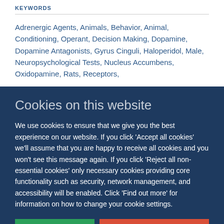KEYWORDS
Adrenergic Agents, Animals, Behavior, Animal, Conditioning, Operant, Decision Making, Dopamine, Dopamine Antagonists, Gyrus Cinguli, Haloperidol, Male, Neuropsychological Tests, Nucleus Accumbens, Oxidopamine, Rats, Receptors,
Cookies on this website
We use cookies to ensure that we give you the best experience on our website. If you click 'Accept all cookies' we'll assume that you are happy to receive all cookies and you won't see this message again. If you click 'Reject all non-essential cookies' only necessary cookies providing core functionality such as security, network management, and accessibility will be enabled. Click 'Find out more' for information on how to change your cookie settings.
Accept all cookies
Reject all non-essential cookies